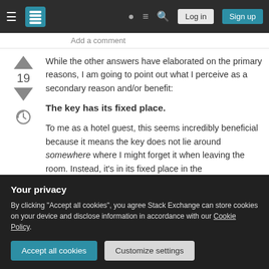Stack Exchange navigation bar with hamburger menu, logo, help, chat, search icons, Log in and Sign up buttons
Add a comment
While the other answers have elaborated on the primary reasons, I am going to point out what I perceive as a secondary reason and/or benefit:
The key has its fixed place.
To me as a hotel guest, this seems incredibly beneficial because it means the key does not lie around somewhere where I might forget it when leaving the room. Instead, it's in its fixed place in the
Your privacy
By clicking "Accept all cookies", you agree Stack Exchange can store cookies on your device and disclose information in accordance with our Cookie Policy.
Accept all cookies
Customize settings
not there, I know I have taken it.